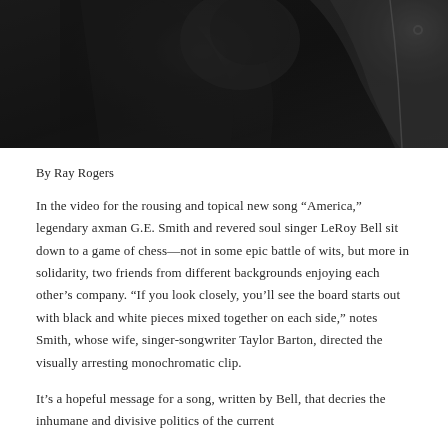[Figure (photo): Black and white photograph showing a person wearing a leather jacket, close-up monochromatic image]
By Ray Rogers
In the video for the rousing and topical new song “America,” legendary axman G.E. Smith and revered soul singer LeRoy Bell sit down to a game of chess—not in some epic battle of wits, but more in solidarity, two friends from different backgrounds enjoying each other’s company. “If you look closely, you’ll see the board starts out with black and white pieces mixed together on each side,” notes Smith, whose wife, singer-songwriter Taylor Barton, directed the visually arresting monochromatic clip.
It’s a hopeful message for a song, written by Bell, that decries the inhumane and divisive politics of the current